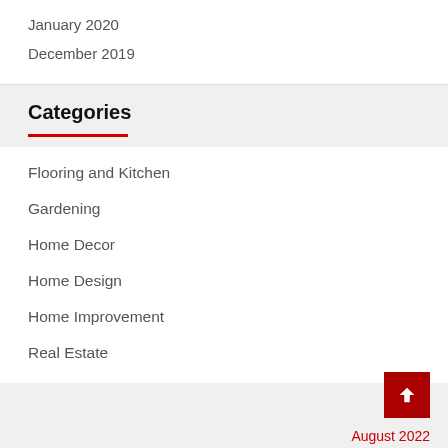January 2020
December 2019
Categories
Flooring and Kitchen
Gardening
Home Decor
Home Design
Home Improvement
Real Estate
August 2022